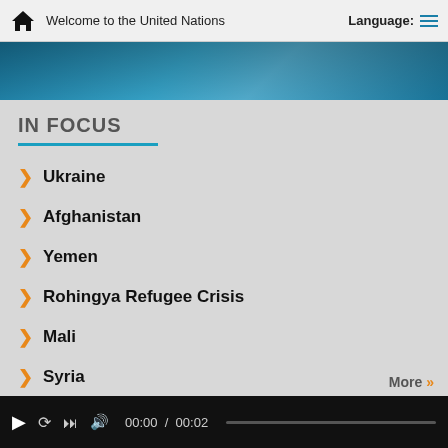Welcome to the United Nations
[Figure (photo): Partial photo strip showing people, blue-toned background]
IN FOCUS
Ukraine
Afghanistan
Yemen
Rohingya Refugee Crisis
Mali
Syria
Democratic People's Republic of Korea
More »
▶  ↺  ⏭  🔊  00:00 / 00:02